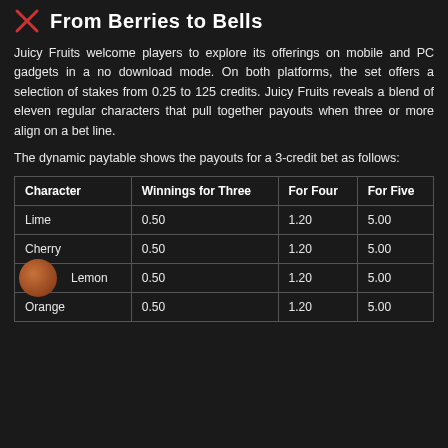From Berries to Bells
Juicy Fruits welcome players to explore its offerings on mobile and PC gadgets in a no download mode. On both platforms, the set offers a selection of stakes from 0.25 to 125 credits. Juicy Fruits reveals a blend of eleven regular characters that pull together payouts when three or more align on a bet line.
The dynamic paytable shows the payouts for a 3-credit bet as follows:
| Character | Winnings for Three | For Four | For Five |
| --- | --- | --- | --- |
| Lime | 0.50 | 1.20 | 5.00 |
| Cherry | 0.50 | 1.20 | 5.00 |
| Lemon | 0.50 | 1.20 | 5.00 |
| Orange | 0.50 | 1.20 | 5.00 |